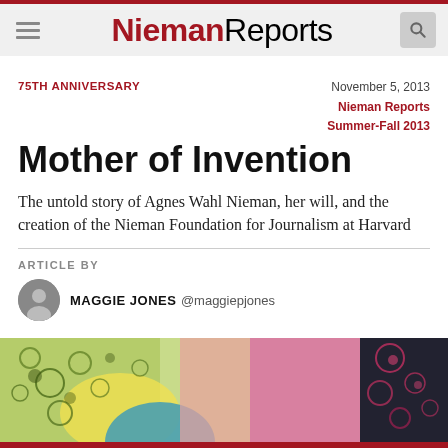Nieman Reports
75TH ANNIVERSARY
November 5, 2013
Nieman Reports Summer-Fall 2013
Mother of Invention
The untold story of Agnes Wahl Nieman, her will, and the creation of the Nieman Foundation for Journalism at Harvard
ARTICLE BY
MAGGIE JONES @maggiepjones
[Figure (illustration): Colorful abstract artwork with bubbles and organic shapes in green, yellow, blue, pink, and black tones, serving as the article's featured image.]